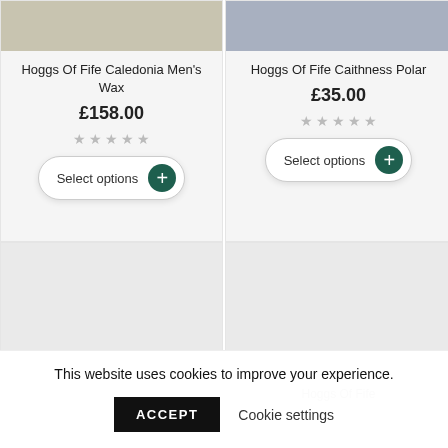[Figure (photo): Partial product image of Hoggs Of Fife Caledonia Men's Wax jacket (cropped at top)]
Hoggs Of Fife Caledonia Men's Wax
£158.00
★ ★ ★ ★ ★ (empty stars)
Select options
[Figure (photo): Partial product image of Hoggs Of Fife Caithness Polar (cropped at top)]
Hoggs Of Fife Caithness Polar
£35.00
★ ★ ★ ★ ★ (empty stars)
Select options
[Figure (photo): Product image placeholder (bottom left card, mostly blank/loading)]
[Figure (photo): Product image placeholder (bottom right card, mostly blank/loading)]
Hoggs Of Fife (partial, cut off)
This website uses cookies to improve your experience.
ACCEPT
Cookie settings